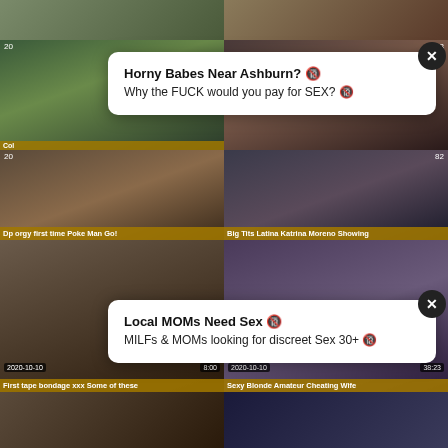[Figure (screenshot): Adult video thumbnail grid with two ad overlays. Top row: two video thumbnails partially visible. Second row: two thumbnails with timestamps '20' visible, overlaid by first ad popup. Third row: two thumbnails labeled 'Dp orgy first time Poke Man Go!' and 'Big Tits Latina Katrina Moreno Showing', overlaid by second ad popup. Fourth row: two thumbnails with dates 2020-10-10 and durations 8:00 and 38:23, labeled 'First tape bondage xxx Some of these' and 'Sexy Blonde Amateur Cheating Wife'. Fifth row partially visible.]
Horny Babes Near Ashburn? 🔞
Why the FUCK would you pay for SEX? 🔞
Local MOMs Need Sex 🔞
MILFs & MOMs looking for discreet Sex 30+ 🔞
Dp orgy first time Poke Man Go!
Big Tits Latina Katrina Moreno Showing
First tape bondage xxx Some of these
Sexy Blonde Amateur Cheating Wife